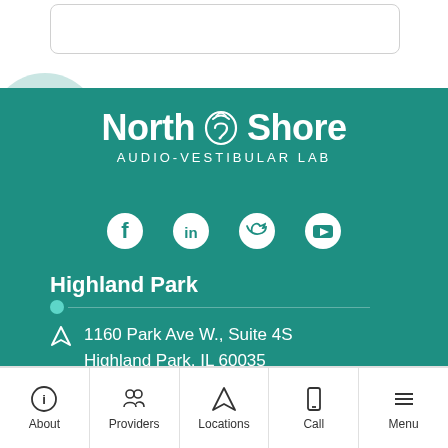[Figure (logo): North Shore Audio-Vestibular Lab logo with hearing icon between North and Shore text]
AUDIO-VESTIBULAR LAB
[Figure (infographic): Social media icons: Facebook, LinkedIn, Twitter, YouTube]
Highland Park
1160 Park Ave W., Suite 4S Highland Park, IL 60035
About | Providers | Locations | Call | Menu